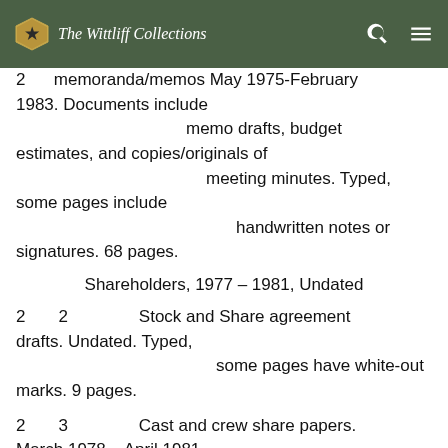The Wittliff Collections
2 [box] memoranda/memos May 1975-February 1983. Documents include memo drafts, budget estimates, and copies/originals of meeting minutes. Typed, some pages include handwritten notes or signatures. 68 pages.
Shareholders, 1977 – 1981, Undated
2 2 Stock and Share agreement drafts. Undated. Typed, some pages have white-out marks. 9 pages.
2 3 Cast and crew share papers. March 1978 – April 1981. Includes share estimates, budget drafts, and share certificates. Typed, some...